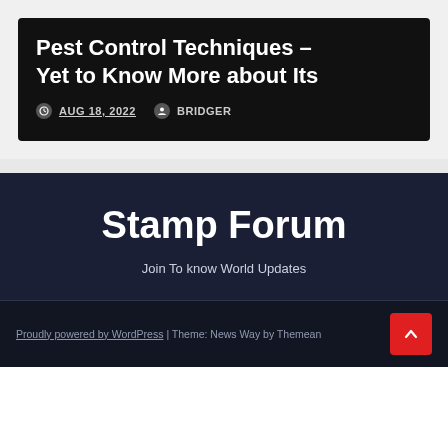Pest Control Techniques – Yet to Know More about Its
AUG 18, 2022   BRIDGER
Stamp Forum
Join To know World Updates
Proudly powered by WordPress | Theme: News Way by Themean